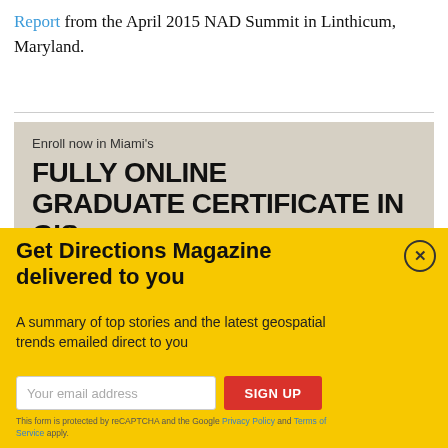Report from the April 2015 NAD Summit in Linthicum, Maryland.
[Figure (infographic): Advertisement for the University of Miami's Fully Online Graduate Certificate in GIS program on a tan/khaki background with red triangle graphic. Text includes 'Enroll now in Miami's FULLY ONLINE GRADUATE CERTIFICATE IN GIS' with bullet points: GIS and Remote Sensing fundamentals and applications, Industry-leading software and online geospatial tools, Python Programming, Four courses.]
[Figure (infographic): Yellow popup overlay with heading 'Get Directions Magazine delivered to you', subtext 'A summary of top stories and the latest geospatial trends emailed direct to you', email input field, SIGN UP button, and legal text about reCAPTCHA with links to Privacy Policy and Terms of Service.]